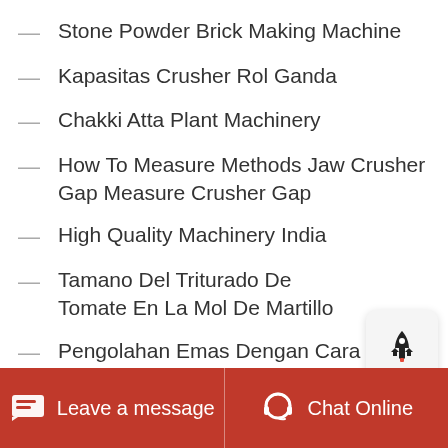Stone Powder Brick Making Machine
Kapasitas Crusher Rol Ganda
Chakki Atta Plant Machinery
How To Measure Methods Jaw Crusher Gap Measure Crusher Gap
High Quality Machinery India
Tamano Del Triturado De Tomate En La Mol De Martillo
Pengolahan Emas Dengan Cara Sianida Bergambar
Unit Operations Of Chemical Engineering Gavhane
Leave a message   Chat Online